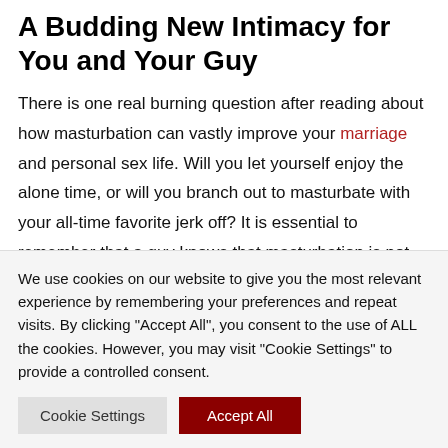A Budding New Intimacy for You and Your Guy
There is one real burning question after reading about how masturbation can vastly improve your marriage and personal sex life. Will you let yourself enjoy the alone time, or will you branch out to masturbate with your all-time favorite jerk off? It is essential to remember that a guy knows that masturbation is not even a little bit close to the magic you possess. You can let go of all the
We use cookies on our website to give you the most relevant experience by remembering your preferences and repeat visits. By clicking "Accept All", you consent to the use of ALL the cookies. However, you may visit "Cookie Settings" to provide a controlled consent.